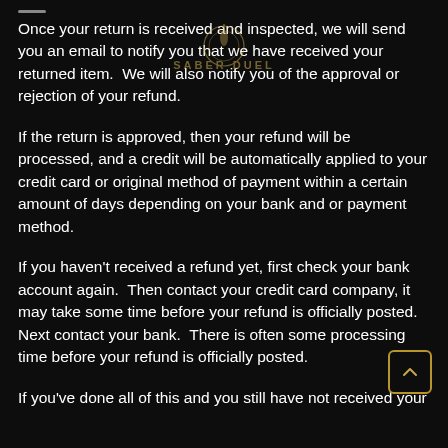[Figure (logo): Saber Duel logo watermark centered at top of page, gold and white text with circular emblem]
Once your return is received and inspected, we will send you an email to notify you that we have received your returned item.  We will also notify you of the approval or rejection of your refund.
If the return is approved, then your refund will be processed, and a credit will be automatically applied to your credit card or original method of payment within a certain amount of days depending on your bank and or payment method.
If you haven't received a refund yet, first check your bank account again.  Then contact your credit card company, it may take some time before your refund is officially posted.  Next contact your bank.  There is often some processing time before your refund is officially posted.
If you've done all of this and you still have not received your